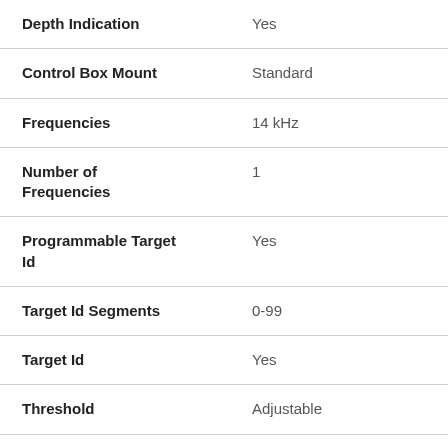| Specification | Value |
| --- | --- |
| Depth Indication | Yes |
| Control Box Mount | Standard |
| Frequencies | 14 kHz |
| Number of Frequencies | 1 |
| Programmable Target Id | Yes |
| Target Id Segments | 0-99 |
| Target Id | Yes |
| Threshold | Adjustable |
| Discrimination | Adjustable |
| Pinpoint Mode | Yes |